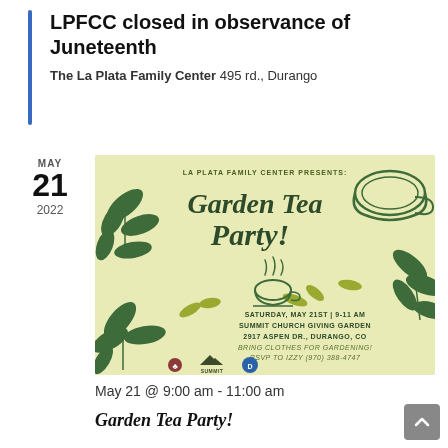LPFCC closed in observance of Juneteenth
The La Plata Family Center 495 rd., Durango
MAY 21 2022
[Figure (illustration): Garden Tea Party event flyer with botanical leaf illustrations, a teacup, and text: LA PLATA FAMILY CENTER PRESENTS: Garden Tea Party! SATURDAY, MAY 21ST | 9-11 AM SUMMIT CHURCH GIVING GARDEN 2917 ASPEN DR., DURANGO, CO BRING CLOTHES FOR GARDENING! RSVP TO IZZY (970) 388-4747]
May 21 @ 9:00 am - 11:00 am
Garden Tea Party!